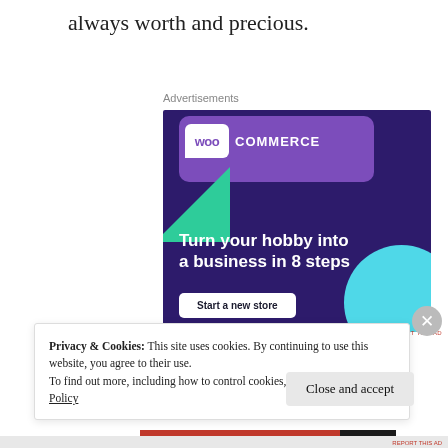always worth and precious.
Advertisements
[Figure (screenshot): WooCommerce advertisement showing 'Turn your hobby into a business in 8 steps' with a 'Start a new store' button on a dark purple background with decorative green and cyan shapes.]
Privacy & Cookies: This site uses cookies. By continuing to use this website, you agree to their use.
To find out more, including how to control cookies, see here: Cookie Policy
Close and accept